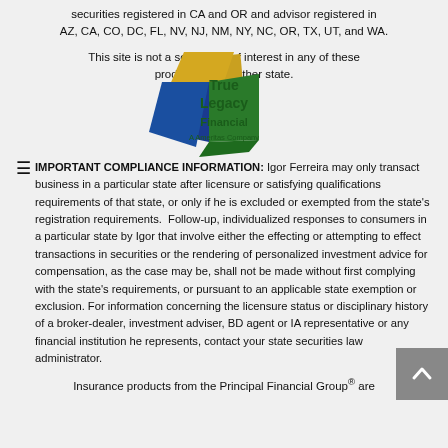securities registered in CA and OR and advisor registered in AZ, CA, CO, DC, FL, NV, NJ, NM, NY, NC, OR, TX, UT, and WA.
This site is not a solicitation of interest in any of these products in any other state.
[Figure (logo): True Legacy Financial logo with blue, green, gold geometric cube shape and text 'True Legacy Financial' in green]
IMPORTANT COMPLIANCE INFORMATION: Igor Ferreira may only transact business in a particular state after licensure or satisfying qualifications requirements of that state, or only if he is excluded or exempted from the state's registration requirements. Follow-up, individualized responses to consumers in a particular state by Igor that involve either the effecting or attempting to effect transactions in securities or the rendering of personalized investment advice for compensation, as the case may be, shall not be made without first complying with the state's requirements, or pursuant to an applicable state exemption or exclusion. For information concerning the licensure status or disciplinary history of a broker-dealer, investment adviser, BD agent or IA representative or any financial institution he represents, contact your state securities law administrator.
Insurance products from the Principal Financial Group® are